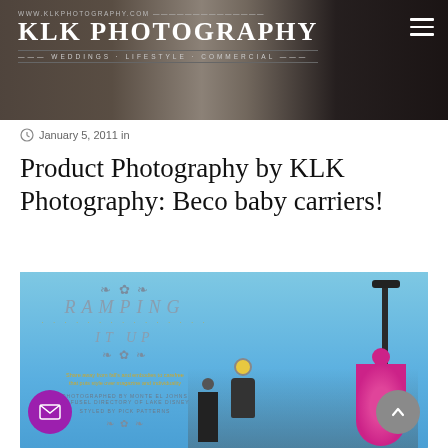www.klkphotography.com — KLK PHOTOGRAPHY — WEDDINGS · LIFESTYLE · COMMERCIAL
[Figure (photo): Photography website hero banner showing adults with a baby carrier, dark toned lifestyle photo]
January 5, 2011 in
Product Photography by KLK Photography: Beco baby carriers!
[Figure (photo): Magazine editorial page showing 'RAMPING IT UP' text with skatepark scene, woman in pink dress, skaters against blue sky background. Photographer credit and styling credit visible.]